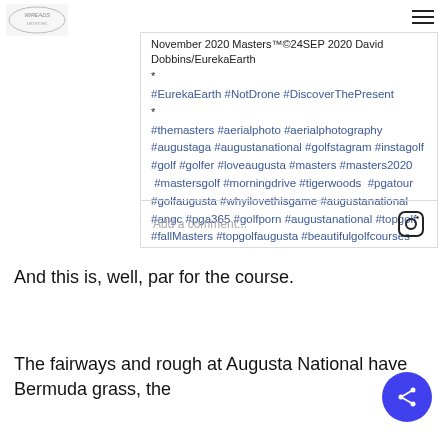[Figure (logo): Website logo top left corner]
November 2020 Masters™©24SEP 2020 David Dobbins/EurekaEarth
*
#EurekaEarth #NotDrone #DiscoverThePresent
*
#themasters #aerialphoto #aerialphotography #augustaga #augustanational #golfstagram #instagolf #golf #golfer #loveaugusta #masters #masters2020 #mastersgolf #morningdrive #tigerwoods #pgatour #golfaugusta #whyilovethisgame #augustanational #angc #pga365 #golfporn #augustanational #topgolf #fallMasters #topgolfaugusta #beautifulgolfcourses
view all 30 comments
Add a comment...
And this is, well, par for the course.
The fairways and rough at Augusta National have Bermuda grass, the